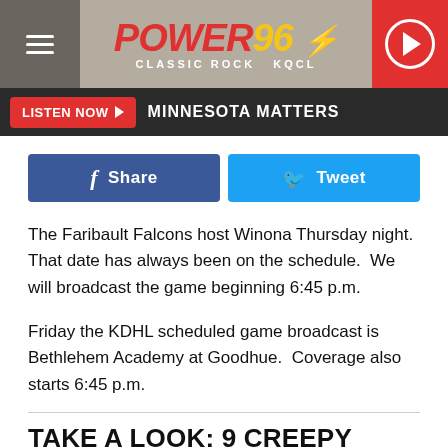[Figure (logo): Power 96 Classic Rock KQCL radio station logo with hamburger menu on left and play button on right]
LISTEN NOW ▶  MINNESOTA MATTERS
[Figure (other): Facebook Share button and Twitter Tweet button]
The Faribault Falcons host Winona Thursday night.  That date has always been on the schedule.  We will broadcast the game beginning 6:45 p.m.
Friday the KDHL scheduled game broadcast is Bethlehem Academy at Goodhue.  Coverage also starts 6:45 p.m.
TAKE A LOOK: 9 CREEPY ABANDONED PLACES YOU DIDN'T KNOW EXISTED IN